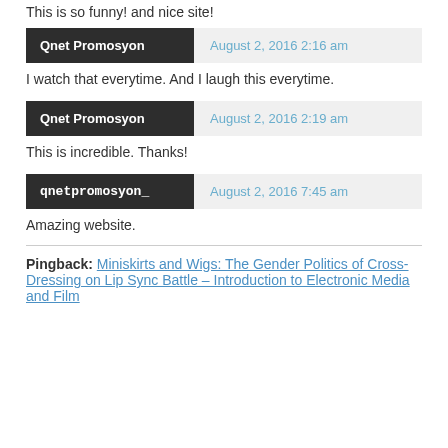This is so funny! and nice site!
Qnet Promosyon — August 2, 2016 2:16 am
I watch that everytime. And I laugh this everytime.
Qnet Promosyon — August 2, 2016 2:19 am
This is incredible. Thanks!
qnetpromosyon_ — August 2, 2016 7:45 am
Amazing website.
Pingback: Miniskirts and Wigs: The Gender Politics of Cross-Dressing on Lip Sync Battle – Introduction to Electronic Media and Film